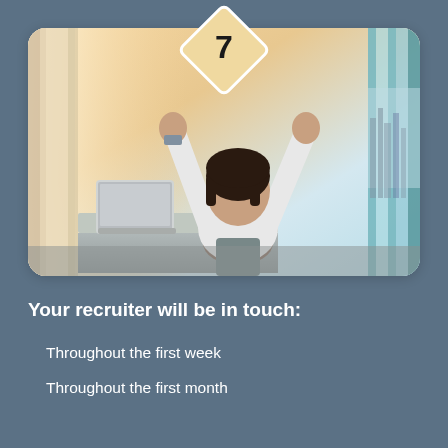[Figure (photo): Woman sitting at a desk with arms raised in celebration, viewed from behind, facing large windows with a city view. A tablet/laptop is on the desk to her left. A diamond-shaped badge with the number 7 is overlaid at the top center of the image.]
Your recruiter will be in touch:
Throughout the first week
Throughout the first month